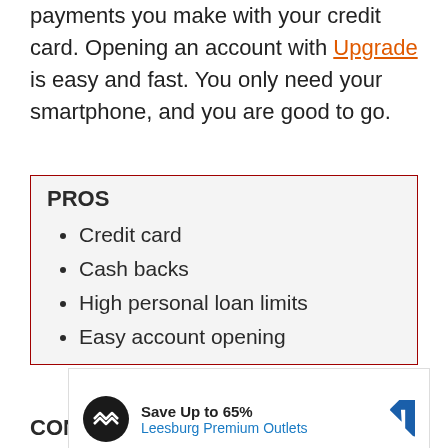payments you make with your credit card. Opening an account with Upgrade is easy and fast. You only need your smartphone, and you are good to go.
PROS
Credit card
Cash backs
High personal loan limits
Easy account opening
CONS
[Figure (other): Advertisement banner: Save Up to 65% Leesburg Premium Outlets, with circular logo and navigation arrow icon]